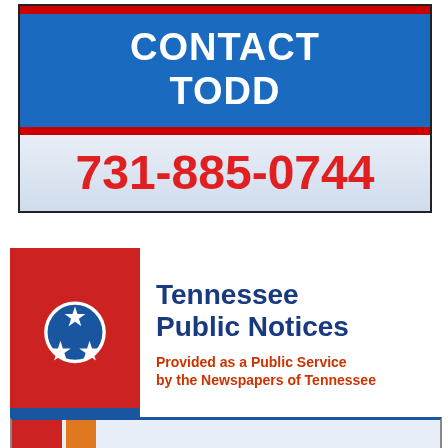[Figure (infographic): Contact Todd advertisement with phone number 731-885-0744, blue background with red stripes]
[Figure (logo): Tennessee Public Notices logo with Tennessee state flag (red background, blue circle with three stars) and text 'Tennessee Public Notices - Provided as a Public Service by the Newspapers of Tennessee']